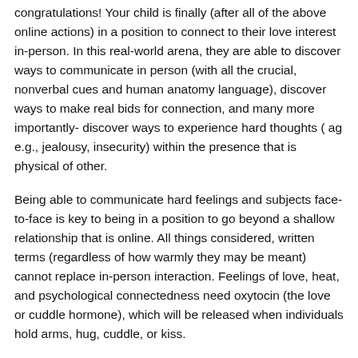congratulations! Your child is finally (after all of the above online actions) in a position to connect to their love interest in-person. In this real-world arena, they are able to discover ways to communicate in person (with all the crucial, nonverbal cues and human anatomy language), discover ways to make real bids for connection, and many more importantly- discover ways to experience hard thoughts ( ag e.g., jealousy, insecurity) within the presence that is physical of other.
Being able to communicate hard feelings and subjects face-to-face is key to being in a position to go beyond a shallow relationship that is online. All things considered, written terms (regardless of how warmly they may be meant) cannot replace in-person interaction. Feelings of love, heat, and psychological connectedness need oxytocin (the love or cuddle hormone), which will be released when individuals hold arms, hug, cuddle, or kiss.